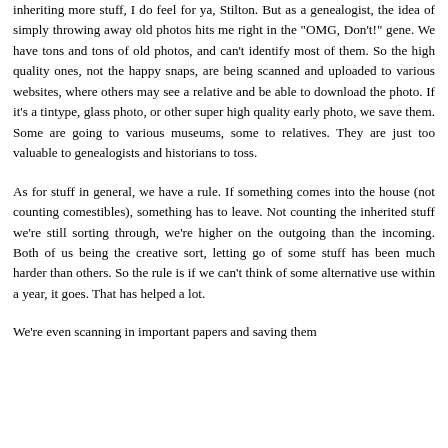inheriting more stuff, I do feel for ya, Stilton. But as a genealogist, the idea of simply throwing away old photos hits me right in the "OMG, Don't!" gene. We have tons and tons of old photos, and can't identify most of them. So the high quality ones, not the happy snaps, are being scanned and uploaded to various websites, where others may see a relative and be able to download the photo. If it's a tintype, glass photo, or other super high quality early photo, we save them. Some are going to various museums, some to relatives. They are just too valuable to genealogists and historians to toss.
As for stuff in general, we have a rule. If something comes into the house (not counting comestibles), something has to leave. Not counting the inherited stuff we're still sorting through, we're higher on the outgoing than the incoming. Both of us being the creative sort, letting go of some stuff has been much harder than others. So the rule is if we can't think of some alternative use within a year, it goes. That has helped a lot.
We're even scanning in important papers and saving them